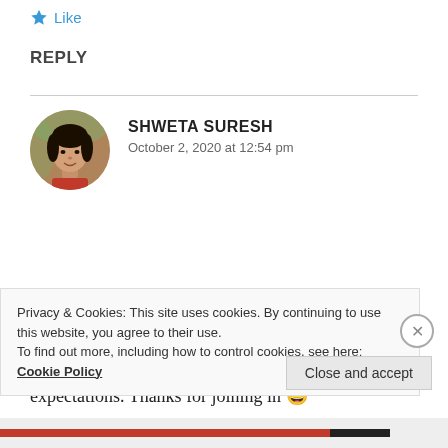[Figure (other): Like button with star icon and 'Like' text in blue]
REPLY
[Figure (photo): Circular avatar photo of Shweta Suresh, a woman in a red top, outdoors]
SHWETA SURESH
October 2, 2020 at 12:54 pm
Great stories, Hema. Very deep ones. I loved all of them, especially the second one. Sometimes we just need some space, a listener or to adjust our expectations. Thanks for joining in 😄
Privacy & Cookies: This site uses cookies. By continuing to use this website, you agree to their use.
To find out more, including how to control cookies, see here: Cookie Policy
Close and accept